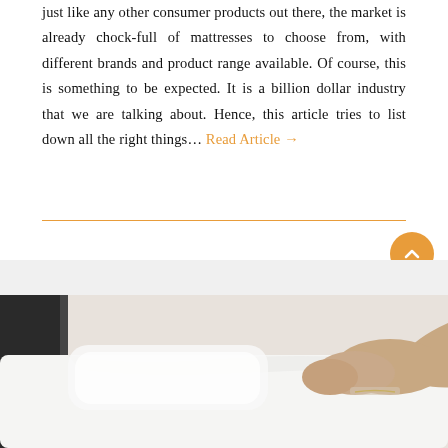just like any other consumer products out there, the market is already chock-full of mattresses to choose from, with different brands and product range available. Of course, this is something to be expected. It is a billion dollar industry that we are talking about. Hence, this article tries to list down all the right things… Read Article →
[Figure (photo): A person lying on a white mattress/bed, visible from the waist down, wearing socks with an anklet, against a light wall background with a dark headboard visible on the left.]